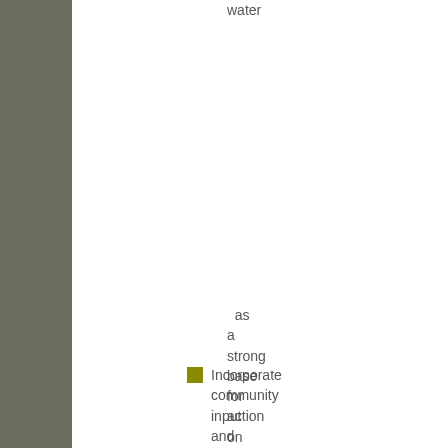Water
as a strong base for action on infrastructure
Incorporate community input and ally with interested